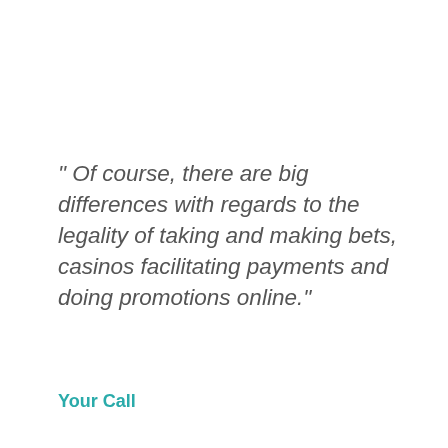" Of course, there are big differences with regards to the legality of taking and making bets, casinos facilitating payments and doing promotions online."
Your Call